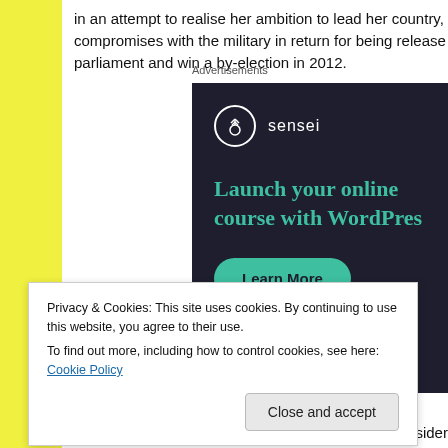in an attempt to realise her ambition to lead her country, compromises with the military in return for being released, parliament and win a by-election in 2012.
Advertisements
[Figure (infographic): Sensei advertisement: dark background with Sensei logo (circle with tree icon), headline 'Launch your online course with WordPress', and a 'Learn More' teal button.]
Privacy & Cookies: This site uses cookies. By continuing to use this website, you agree to their use.
To find out more, including how to control cookies, see here: Cookie Policy
Close and accept
constitution they'd written so she could become Presider